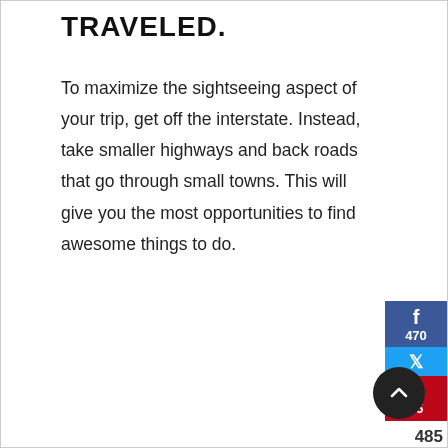TRAVELED.
To maximize the sightseeing aspect of your trip, get off the interstate. Instead, take smaller highways and back roads that go through small towns. This will give you the most opportunities to find awesome things to do.
[Figure (infographic): Social share buttons: Facebook (470 shares), Twitter, Pinterest (15 shares). Total 485 SHARES.]